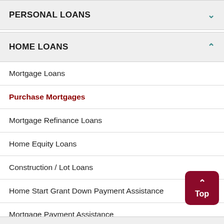PERSONAL LOANS
HOME LOANS
Mortgage Loans
Purchase Mortgages
Mortgage Refinance Loans
Home Equity Loans
Construction / Lot Loans
Home Start Grant Down Payment Assistance
Mortgage Payment Assistance
Mortgage Team